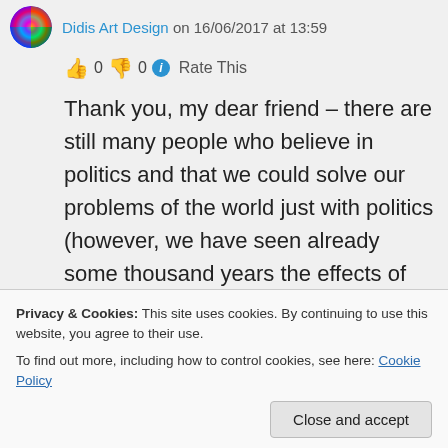Didis Art Design on 16/06/2017 at 13:59
👍 0 👎 0 ℹ Rate This
Thank you, my dear friend – there are still many people who believe in politics and that we could solve our problems of the world just with politics (however, we have seen already some thousand years the effects of politics – it has not changed yet). The change can only come from within, from ourselves and noone can do this job
Privacy & Cookies: This site uses cookies. By continuing to use this website, you agree to their use.
To find out more, including how to control cookies, see here: Cookie Policy
Close and accept
interesting blog (I wanted to give some